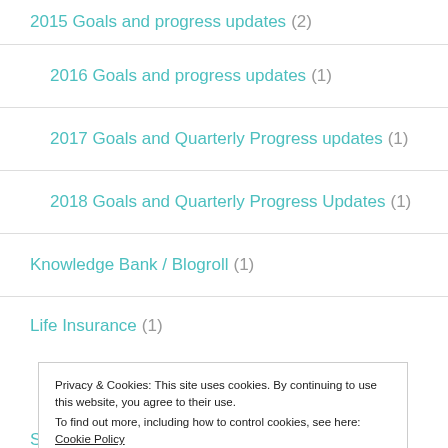2015 Goals and progress updates (2)
2016 Goals and progress updates (1)
2017 Goals and Quarterly Progress updates (1)
2018 Goals and Quarterly Progress Updates (1)
Knowledge Bank / Blogroll (1)
Life Insurance (1)
Privacy & Cookies: This site uses cookies. By continuing to use this website, you agree to their use. To find out more, including how to control cookies, see here: Cookie Policy
Saving Money (9)